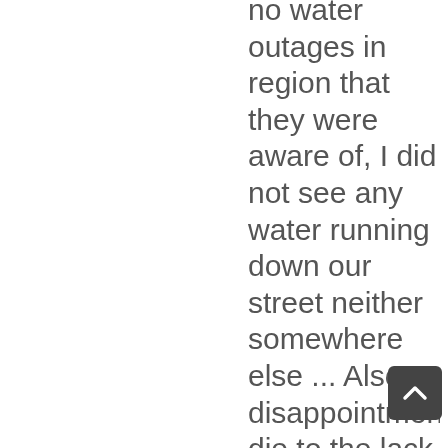no water outages in region that they were aware of, I did not see any water running down our street neither somewhere else ... Also disappointment die to the lack of communication, I have a post box to leave the info in, but my son was also as home Thursday when they installed it ... Assume it is not set on the correct amount of water for our household ... will phone daily until they resolve the issue ... I pay my account every month on time, we use water sparingly even though